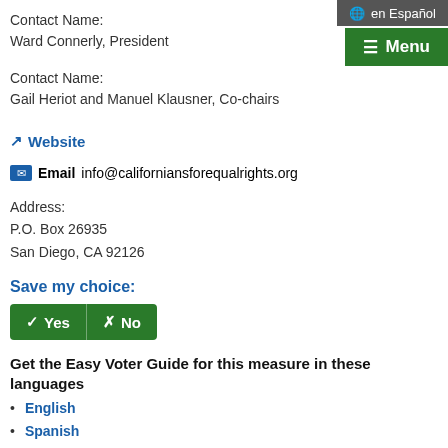en Español
≡ Menu
Contact Name:
Ward Connerly, President
Contact Name:
Gail Heriot and Manuel Klausner, Co-chairs
Website
Email info@californiansforequalrights.org
Address:
P.O. Box 26935
San Diego, CA 92126
Save my choice:
✓ Yes  ✗ No
Get the Easy Voter Guide for this measure in these languages
English
Spanish